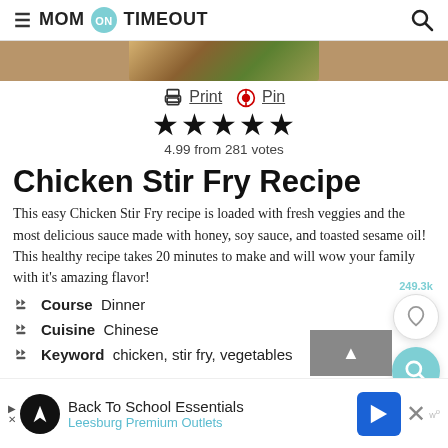≡ MOM ON TIMEOUT 🔍
[Figure (photo): Top portion of a chicken stir fry dish photo]
🖨 Print 📌 Pin
★★★★★ 4.99 from 281 votes
Chicken Stir Fry Recipe
This easy Chicken Stir Fry recipe is loaded with fresh veggies and the most delicious sauce made with honey, soy sauce, and toasted sesame oil! This healthy recipe takes 20 minutes to make and will wow your family with it's amazing flavor!
Course  Dinner
Cuisine  Chinese
Keyword  chicken, stir fry, vegetables
Back To School Essentials
Leesburg Premium Outlets